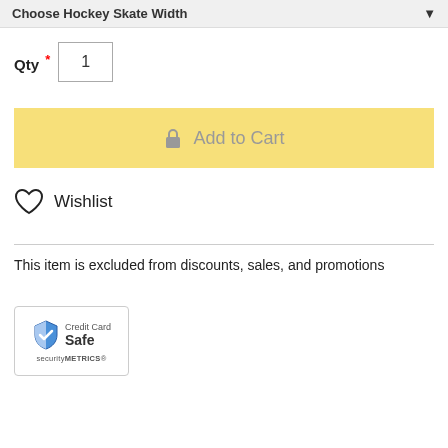Choose Hockey Skate Width
Qty * 1
Add to Cart
Wishlist
This item is excluded from discounts, sales, and promotions
[Figure (logo): SecurityMetrics Credit Card Safe badge with blue shield icon]